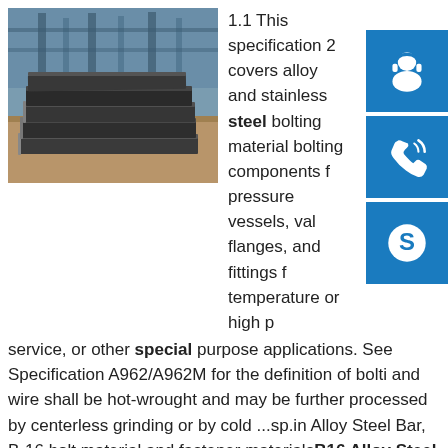[Figure (photo): Stack of dark steel plates/sheets on a warehouse floor with industrial structure in background]
1.1 This specification 2 covers alloy and stainless steel bolting material bolting components for pressure vessels, valves, flanges, and fittings for temperature or high pressure service, or other special purpose applications. See Specification A962/A962M for the definition of bolting and wire shall be hot-wrought and may be further processed by centerless grinding or by cold ...sp.info Alloy Steel Bar, B-16 bolt material and fastener materialsB16 Alloy Steel Bar - B5F5B - ASTM A 193 B16 alloy steel bar is a chromium, molybdenum, vanadium alloy steel widely used for high strength industrial applications. It is commonly used in power generation turbines in high strength fastener applications such as bolt material. B-16 Alloy Steelsp.infoAstm A193 Grade B16
[Figure (infographic): Three blue square icon buttons on the right side: headset/support icon, phone icon, Skype icon]